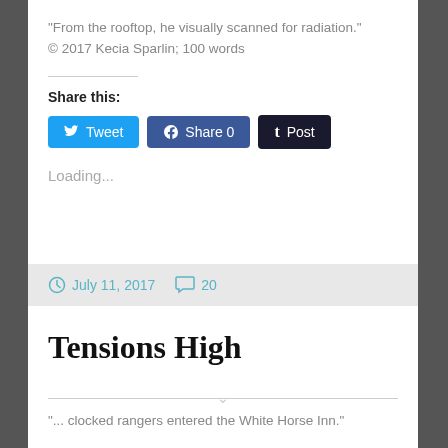"From the rooftop, he visually scanned for radiation."
© 2017 Kecia Sparlin; 100 words
Share this:
Tweet | Share 0 | Post
Loading...
July 11, 2017   20
Tensions High
"... clocked rangers entered the White Horse Inn."